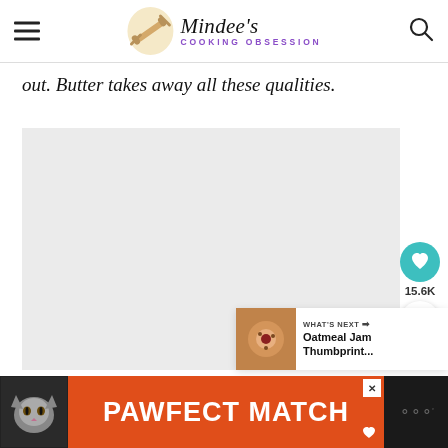Mindee's Cooking Obsession
out. Butter takes away all these qualities.
[Figure (photo): Large recipe/food photo placeholder area (gray background)]
[Figure (infographic): Social share buttons: heart icon with 15.6K count, share button]
[Figure (infographic): What's Next panel showing Oatmeal Jam Thumbprint... recipe thumbnail]
[Figure (photo): Advertisement banner: PAWFECT MATCH with cat photo on orange/dark background]